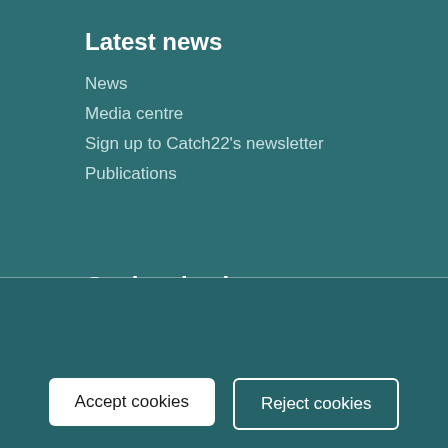Latest news
News
Media centre
Sign up to Catch22's newsletter
Publications
Get involved
This website uses cookies to help us understand the way visitors use our website. We can't identify you with them and we don't share the data with anyone else. If you click Reject we will set a single cookie to remember your preference. Find out more in our privacy policy.
Accept cookies
Reject cookies